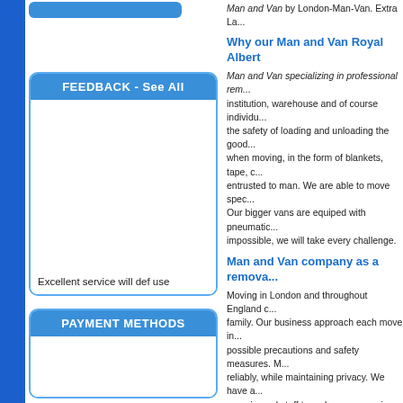FEEDBACK - See All
Excellent service will def use
PAYMENT METHODS
Man and Van by London-Man-Van. Extra La...
Why our Man and Van Royal Albert
Man and Van specializing in professional rem... institution, warehouse and of course individu... the safety of loading and unloading the good... when moving, in the form of blankets, tape, c... entrusted to man. We are able to move spec... Our bigger vans are equiped with pneumatic... impossible, we will take every challenge.
Man and Van company as a remova...
Moving in London and throughout England c... family. Our business approach each move in... possible precautions and safety measures. M... reliably, while maintaining privacy. We have a... experienced staff to make you move in Lond...
Our Man and Van Royal Al...
Man and Van Royal Albert moving h...
Our employees will offer you an advice and a... moving.
It is important to make sure everything has b...
Please remember to remove content...